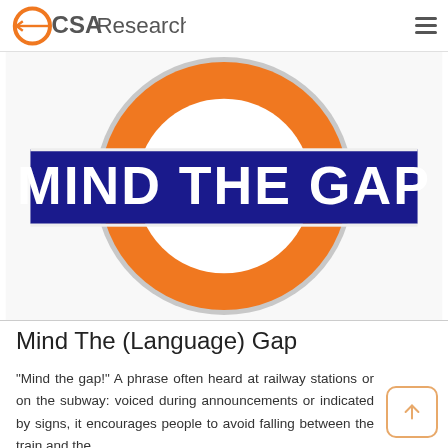CSA Research
[Figure (illustration): London Underground / TfL roundel sign with orange circle and dark blue horizontal bar reading 'MIND THE GAP' in white bold text]
Mind The (Language) Gap
“Mind the gap!” A phrase often heard at railway stations or on the subway: voiced during announcements or indicated by signs, it encourages people to avoid falling between the train and the